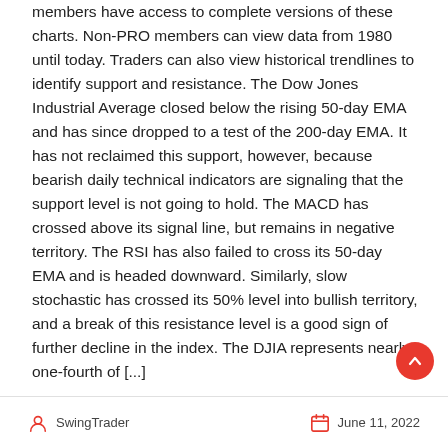members have access to complete versions of these charts. Non-PRO members can view data from 1980 until today. Traders can also view historical trendlines to identify support and resistance. The Dow Jones Industrial Average closed below the rising 50-day EMA and has since dropped to a test of the 200-day EMA. It has not reclaimed this support, however, because bearish daily technical indicators are signaling that the support level is not going to hold. The MACD has crossed above its signal line, but remains in negative territory. The RSI has also failed to cross its 50-day EMA and is headed downward. Similarly, slow stochastic has crossed its 50% level into bullish territory, and a break of this resistance level is a good sign of further decline in the index. The DJIA represents nearly one-fourth of [...]
SwingTrader   June 11, 2022